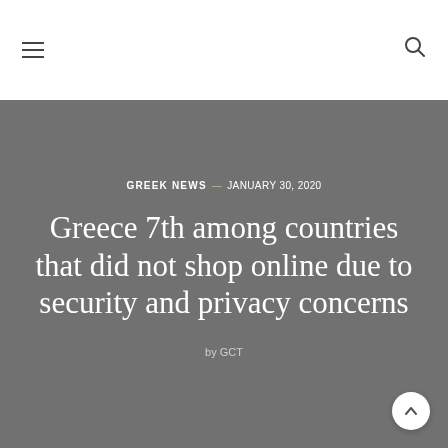Navigation header with hamburger menu and search icon
GREEK NEWS — JANUARY 30, 2020
Greece 7th among countries that did not shop online due to security and privacy concerns
by GCT